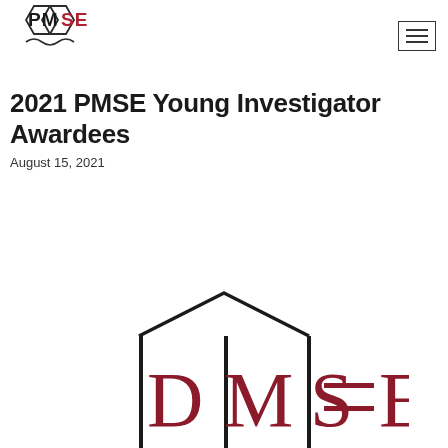[Figure (logo): PMSE logo with hexagonal shapes and red letters in header]
[Figure (logo): Hamburger menu icon (three horizontal lines) inside a rectangle border]
2021 PMSE Young Investigator Awardees
August 15, 2021
[Figure (logo): Large PMSE logo with black line art hexagons and dark red letters, partially cropped at bottom of page]